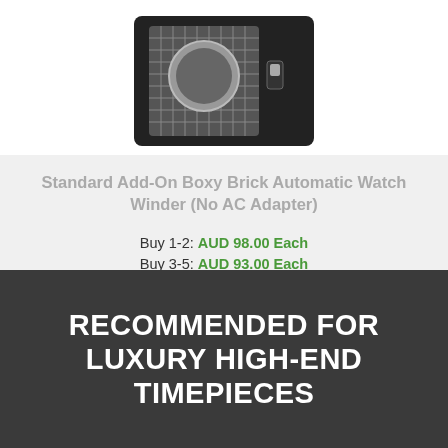[Figure (photo): Photo of a Standard Add-On Boxy Brick Automatic Watch Winder device, black box with grid-pattern front panel and toggle switch]
Standard Add-On Boxy Brick Automatic Watch Winder (No AC Adapter)
Buy 1-2: AUD 98.00 Each
Buy 3-5: AUD 93.00 Each
Buy 6-9: AUD 89.00 Each
Buy 10-12+: AUD 85.00 Each
In Stock
RECOMMENDED FOR LUXURY HIGH-END TIMEPIECES